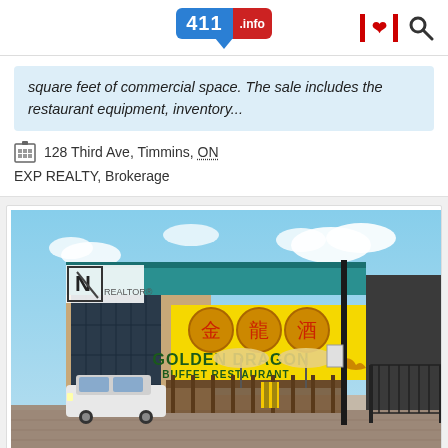411.info
square feet of commercial space. The sale includes the restaurant equipment, inventory...
128 Third Ave, Timmins, ON
EXP REALTY, Brokerage
[Figure (photo): Exterior photo of Golden Dragon Buffet Restaurant at 128 Third Ave, Timmins, ON. The building has a teal/green metal facade on top, a yellow sign with Chinese characters and English text reading 'GOLDEN DRAGON BUFFET RESTAURANT', large windows on the left side, a brick patio enclosure with umbrellas in front, a white SUV parked on the left, and a black iron fence on the right. A 'REALTOR' watermark logo is visible in the upper-left of the photo.]